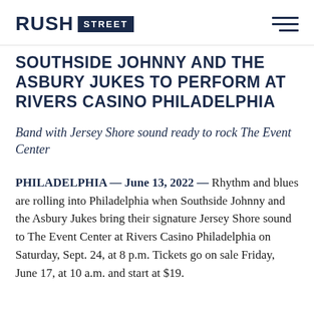RUSH STREET
SOUTHSIDE JOHNNY AND THE ASBURY JUKES TO PERFORM AT RIVERS CASINO PHILADELPHIA
Band with Jersey Shore sound ready to rock The Event Center
PHILADELPHIA — June 13, 2022 — Rhythm and blues are rolling into Philadelphia when Southside Johnny and the Asbury Jukes bring their signature Jersey Shore sound to The Event Center at Rivers Casino Philadelphia on Saturday, Sept. 24, at 8 p.m. Tickets go on sale Friday, June 17, at 10 a.m. and start at $19.